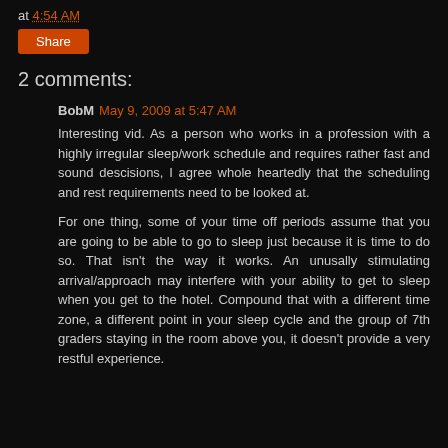at 4:54 AM
Share
2 comments:
BobM May 9, 2009 at 5:47 AM
Interesting vid. As a person who works in a profession with a highly irregular sleep/work schedule and requires rather fast and sound descisions, I agree whole heartedly that the scheduling and rest requirements need to be looked at.
For one thing, some of your time off periods assume that you are going to be able to go to sleep just because it is time to do so. That isn't the way it works. An unusally stimulating arrival/approach may interfere with your ability to get to sleep when you get to the hotel. Compound that with a different time zone, a different point in your sleep cycle and the group of 7th graders staying in the room above you, it doesn't provide a very restful experience.